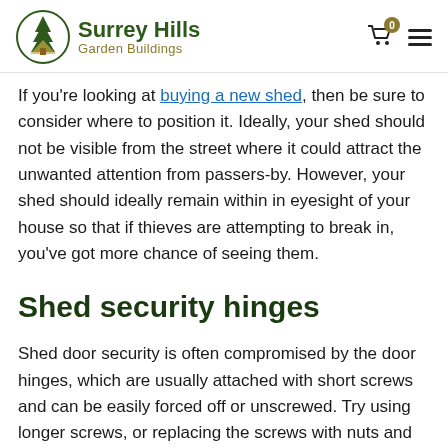Surrey Hills Garden Buildings
If you're looking at buying a new shed, then be sure to consider where to position it. Ideally, your shed should not be visible from the street where it could attract the unwanted attention from passers-by. However, your shed should ideally remain within in eyesight of your house so that if thieves are attempting to break in, you've got more chance of seeing them.
Shed security hinges
Shed door security is often compromised by the door hinges, which are usually attached with short screws and can be easily forced off or unscrewed. Try using longer screws, or replacing the screws with nuts and bolts. Superglue the nut to the bolt on the inside of the door and this will prevent